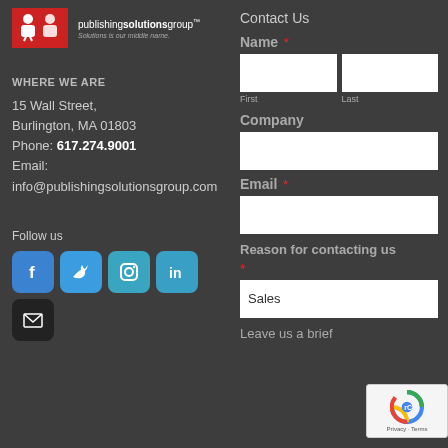[Figure (logo): Publishing Solutions Group logo with red icon and text]
WHERE WE ARE
15 Wall Street,
Burlington, MA 01803
Phone: 617.274.9001
Email:
info@publishingsolutionsgroup.com
Follow us
[Figure (infographic): Social media icons: Facebook, Twitter, Instagram, LinkedIn, Email]
Contact Us
Name *
First  Last
Company
Email *
Reason for contacting us *
Sales
Leave us a brief